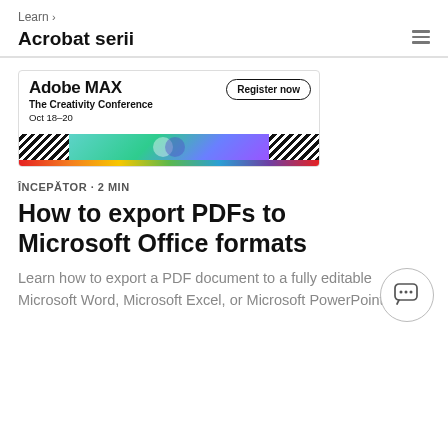Learn > Acrobat serii
[Figure (illustration): Adobe MAX The Creativity Conference Oct 18-20 banner with Register now button, rainbow stripe, gradient graphic with overlapping circles, and diagonal zigzag patterns]
ÎNCEPĂTOR · 2 MIN
How to export PDFs to Microsoft Office formats
Learn how to export a PDF document to a fully editable Microsoft Word, Microsoft Excel, or Microsoft PowerPoint file.